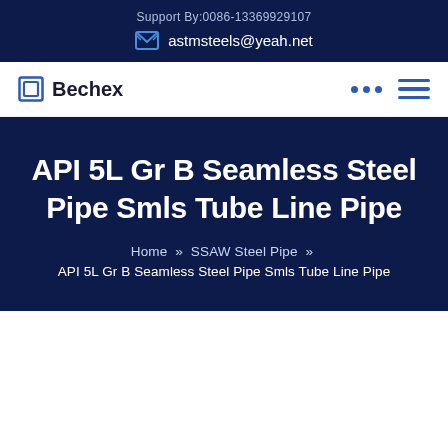Support By:0086-13369929107
astmsteels@yeah.net
Bechex
API 5L Gr B Seamless Steel Pipe Smls Tube Line Pipe
Home » SSAW Steel Pipe » API 5L Gr B Seamless Steel Pipe Smls Tube Line Pipe